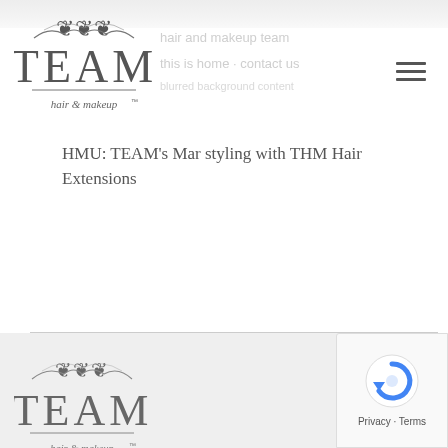[Figure (logo): TEAM hair & makeup logo with decorative scrollwork above the text, positioned in the top-left header]
HMU: TEAM's Mar styling with THM Hair Extensions
[Figure (logo): TEAM hair & makeup logo with decorative scrollwork, repeated in the footer section]
[Figure (other): Google reCAPTCHA badge in the bottom-right corner with reCAPTCHA icon and Privacy · Terms text]